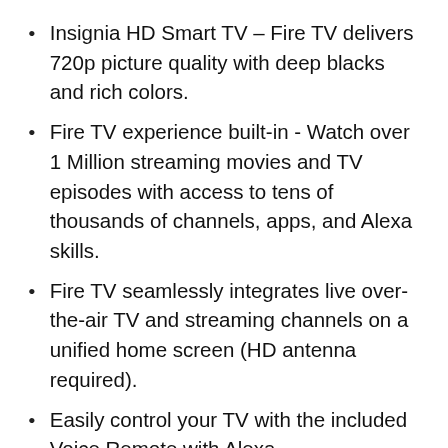Insignia HD Smart TV – Fire TV delivers 720p picture quality with deep blacks and rich colors.
Fire TV experience built-in - Watch over 1 Million streaming movies and TV episodes with access to tens of thousands of channels, apps, and Alexa skills.
Fire TV seamlessly integrates live over-the-air TV and streaming channels on a unified home screen (HD antenna required).
Easily control your TV with the included Voice Remote with Alexa—